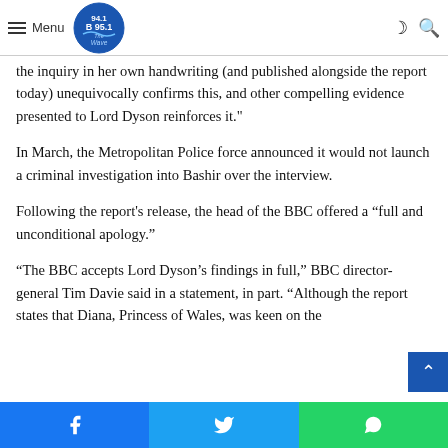Menu [logo: 94.1 B 95.1 The Wave]
"The bank [statements had no bearing whatsoever on the decision by Princess Diana to take part in the interview," he said, according to the BBC. "Evidence handed to] the inquiry in her own handwriting (and published alongside the report today) unequivocally confirms this, and other compelling evidence presented to Lord Dyson reinforces it."
In March, the Metropolitan Police force announced it would not launch a criminal investigation into Bashir over the interview.
Following the report's release, the head of the BBC offered a “full and unconditional apology.”
“The BBC accepts Lord Dyson’s findings in full,” BBC director-general Tim Davie said in a statement, in part. “Although the report states that Diana, Princess of Wales, was keen on the
Facebook  Twitter  WhatsApp